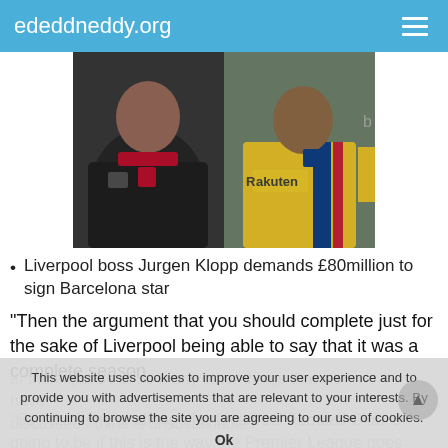ededdneddy.org
[Figure (photo): Two-photo composite: left photo shows a man in a dark puffer jacket with Liverpool FC crest (likely Jurgen Klopp), right photo shows a footballer in a yellow Barcelona kit (Rakuten sponsor)]
Liverpool boss Jurgen Klopp demands £80million to sign Barcelona star
“Then the argument that you should complete just for the sake of Liverpool being able to say that it was a complete season
at the expense of so many other things that we have discussed I think is unsustainable.
“So I think the challenge for Liverpool Football Club is going to be if this is the way the Premier League goes and they go ‘Right, we are going to have to scrap the season and try and
This website uses cookies to improve your user experience and to provide you with advertisements that are relevant to your interests. By continuing to browse the site you are agreeing to our use of cookies.
Ok